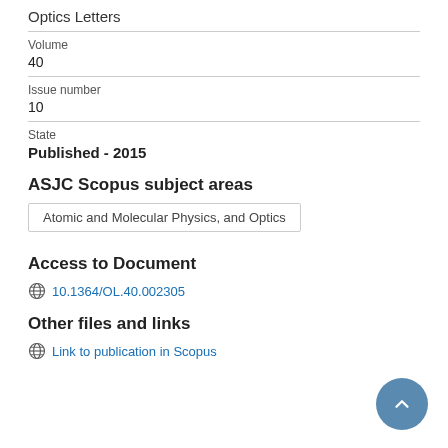Optics Letters
Volume
40
Issue number
10
State
Published - 2015
ASJC Scopus subject areas
Atomic and Molecular Physics, and Optics
Access to Document
10.1364/OL.40.002305
Other files and links
Link to publication in Scopus